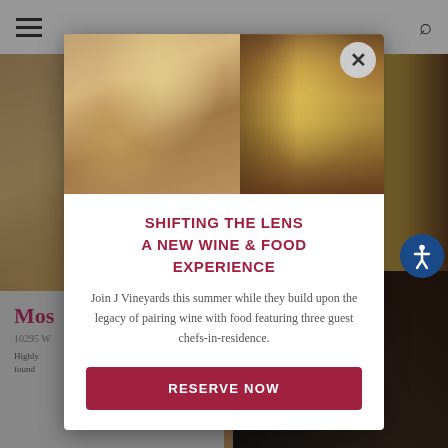Navigation bar with hamburger menu and search icon
[Figure (screenshot): Website popup overlay showing a modal dialog on top of a blurred wine and food venue page. Background shows partial page with 'Mos...' title, address starting with '10295 W...', and description text starting with 'Highly' and 'found...'. The modal contains two food/wine images at top (cheese plate on left, champagne flutes on right), a close X button, headline text, body text, and a Reserve Now button.]
SHIFTING THE LENS
A NEW WINE & FOOD EXPERIENCE
Join J Vineyards this summer while they build upon the legacy of pairing wine with food featuring three guest chefs-in-residence.
RESERVE NOW